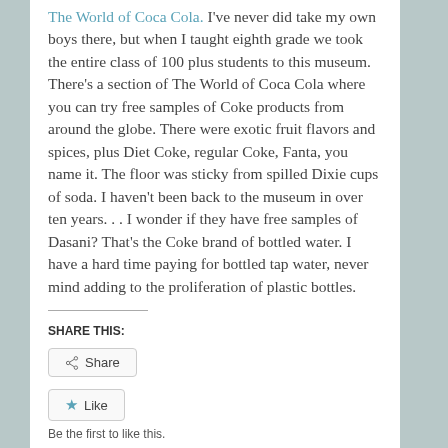The World of Coca Cola. I've never did take my own boys there, but when I taught eighth grade we took the entire class of 100 plus students to this museum. There's a section of The World of Coca Cola where you can try free samples of Coke products from around the globe. There were exotic fruit flavors and spices, plus Diet Coke, regular Coke, Fanta, you name it. The floor was sticky from spilled Dixie cups of soda. I haven't been back to the museum in over ten years. . . I wonder if they have free samples of Dasani? That's the Coke brand of bottled water. I have a hard time paying for bottled tap water, never mind adding to the proliferation of plastic bottles.
SHARE THIS:
Share
Like
Be the first to like this.